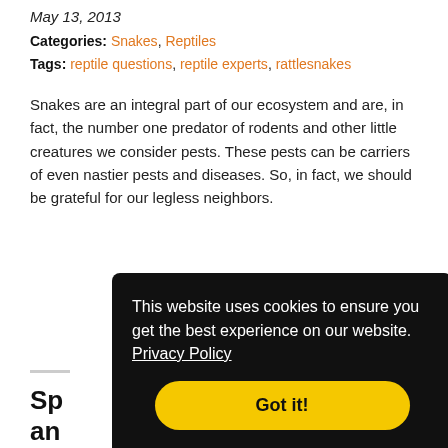May 13, 2013
Categories: Snakes, Reptiles
Tags: reptile questions, reptile experts, rattlesnakes
Snakes are an integral part of our ecosystem and are, in fact, the number one predator of rodents and other little creatures we consider pests. These pests can be carriers of even nastier pests and diseases. So, in fact, we should be grateful for our legless neighbors.
Read More
Sp... an...
Ma...
Categories: Snakes, Reptiles
This website uses cookies to ensure you get the best experience on our website. Privacy Policy Got it!